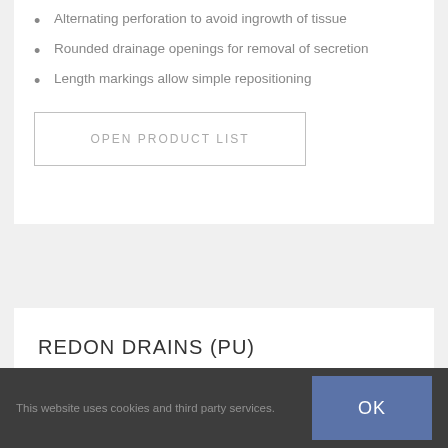Alternating perforation to avoid ingrowth of tissue
Rounded drainage openings for removal of secretion
Length markings allow simple repositioning
OPEN PRODUCT LIST
REDON DRAINS (PU)
This website uses cookies and third party services.
OK